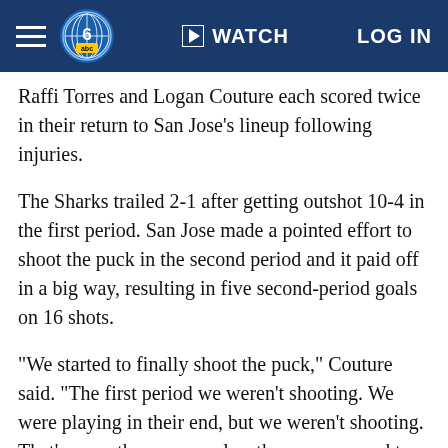WATCH  LOG IN
Raffi Torres and Logan Couture each scored twice in their return to San Jose's lineup following injuries.
The Sharks trailed 2-1 after getting outshot 10-4 in the first period. San Jose made a pointed effort to shoot the puck in the second period and it paid off in a big way, resulting in five second-period goals on 16 shots.
"We started to finally shoot the puck," Couture said. "The first period we weren't shooting. We were playing in their end, but we weren't shooting. That's more the way we play, the way we need to play. A lot of our goals were off rebounds, and that's the way you score in this league."
Pavelski, one of the Sharks' four Olympians, scored all three of his goals in the dominating second period. Torres, who